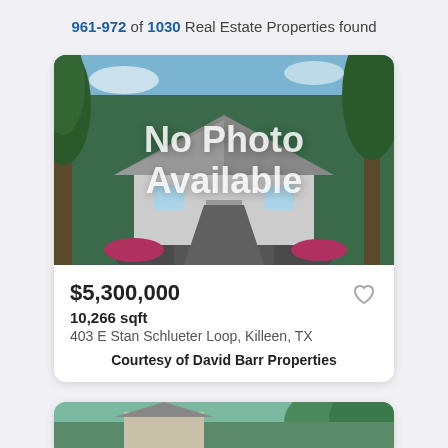961-972 of 1030 Real Estate Properties found
[Figure (photo): House listing card with 'No Photo Available' overlay on a stock photo of a house with trees. Shows price $5,300,000, 10,266 sqft, address 403 E Stan Schlueter Loop, Killeen, TX, Courtesy of David Barr Properties]
[Figure (photo): Partially visible second property listing card at the bottom of the page]